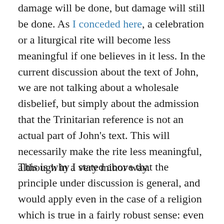damage will be done, but damage will still be done. As I conceded here, a celebration or a liturgical rite will become less meaningful if one believes in it less. In the current discussion about the text of John, we are not talking about a wholesale disbelief, but simply about the admission that the Trinitarian reference is not an actual part of John's text. This will necessarily make the rite less meaningful, although in a very minor way.
This is why I stated above that the principle under discussion is general, and would apply even in the case of a religion which is true in a fairly robust sense: even minor inaccuracies in the implicit assumptions of one's religious